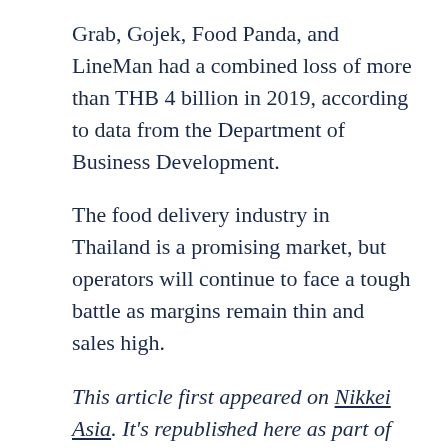Grab, Gojek, Food Panda, and LineMan had a combined loss of more than THB 4 billion in 2019, according to data from the Department of Business Development.
The food delivery industry in Thailand is a promising market, but operators will continue to face a tough battle as margins remain thin and sales high.
This article first appeared on Nikkei Asia. It's republished here as part of 36Kr's ongoing partnership with Nikkei.
7